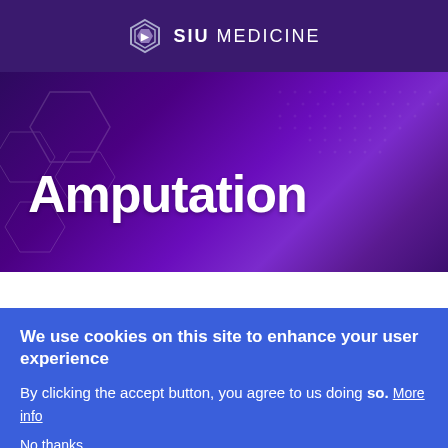SIU MEDICINE
Amputation
We use cookies on this site to enhance your user experience
By clicking the accept button, you agree to us doing so. More info
No thanks
Accept